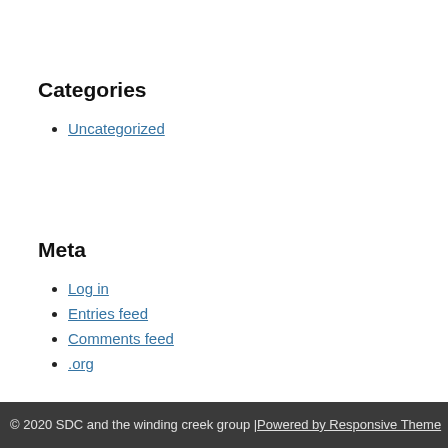Categories
Uncategorized
Meta
Log in
Entries feed
Comments feed
.org
© 2020 SDC and the winding creek group | Powered by Responsive Theme